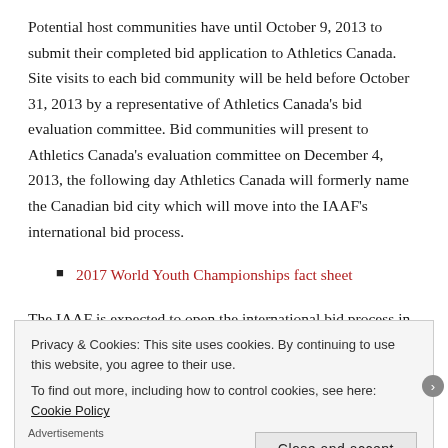Potential host communities have until October 9, 2013 to submit their completed bid application to Athletics Canada. Site visits to each bid community will be held before October 31, 2013 by a representative of Athletics Canada's bid evaluation committee. Bid communities will present to Athletics Canada's evaluation committee on December 4, 2013, the following day Athletics Canada will formerly name the Canadian bid city which will move into the IAAF's international bid process.
2017 World Youth Championships fact sheet
The IAAF is expected to open the international bid process in early 2014 and is expected to select the host city for the 2017 World Youth Championships by the end of the same year.
Privacy & Cookies: This site uses cookies. By continuing to use this website, you agree to their use.
To find out more, including how to control cookies, see here: Cookie Policy